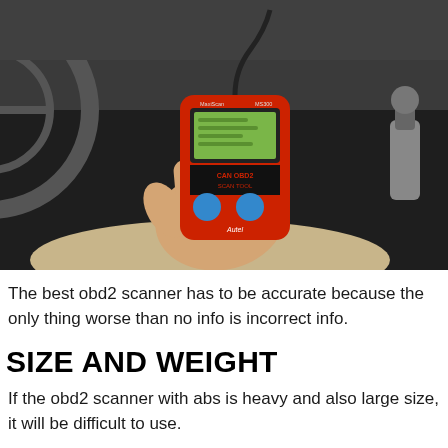[Figure (photo): A hand holding a red Autel CAN OBD2 scan tool device inside a car interior, with steering wheel visible on the left and gear shifter on the right.]
The best obd2 scanner has to be accurate because the only thing worse than no info is incorrect info.
SIZE AND WEIGHT
If the obd2 scanner with abs is heavy and also large size, it will be difficult to use.